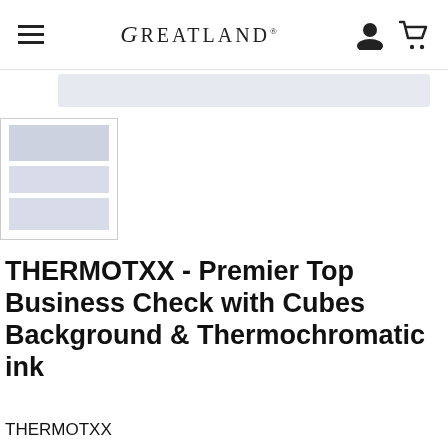GREATLAND® navigation header with hamburger menu, logo, user icon, cart icon
[Figure (screenshot): Search bar placeholder area with light blue-gray background]
[Figure (screenshot): Product thumbnail image placeholder with three stacked gray/blue rectangles representing a business check document preview]
THERMOTXX - Premier Top Business Check with Cubes Background & Thermochromatic ink
THERMOTXX